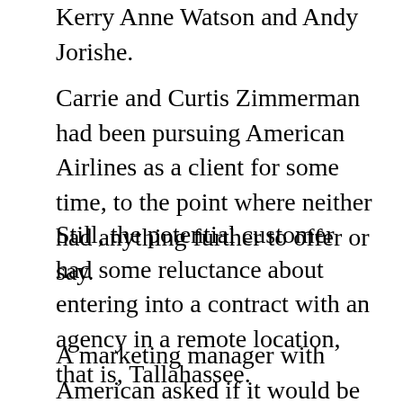Kerry Anne Watson and Andy Jorishe.
Carrie and Curtis Zimmerman had been pursuing American Airlines as a client for some time, to the point where neither had anything further to offer or say.
Still, the potential customer had some reluctance about entering into a contract with an agency in a remote location, that is, Tallahassee.
A marketing manager with American asked if it would be possible for him to visit the Zimmermans’ offices. No problem. As it